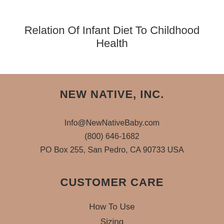Relation Of Infant Diet To Childhood Health
NEW NATIVE, INC.
Info@NewNativeBaby.com
(800) 646-1682
PO Box 255, San Pedro, CA 90733 USA
CUSTOMER CARE
How To Use
Sizing
Returns & Exchanges
Product Registration